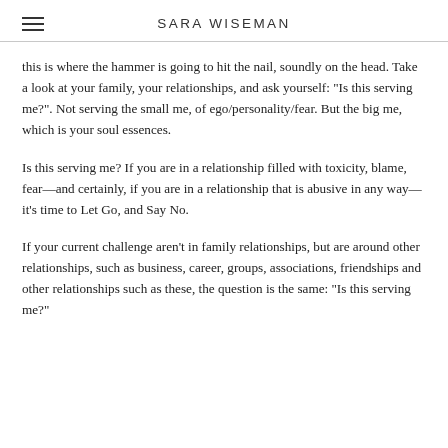SARA WISEMAN
this is where the hammer is going to hit the nail, soundly on the head. Take a look at your family, your relationships, and ask yourself: "Is this serving me?". Not serving the small me, of ego/personality/fear. But the big me, which is your soul essences.
Is this serving me? If you are in a relationship filled with toxicity, blame, fear—and certainly, if you are in a relationship that is abusive in any way—it's time to Let Go, and Say No.
If your current challenge aren't in family relationships, but are around other relationships, such as business, career, groups, associations, friendships and other relationships such as these, the question is the same: "Is this serving me?"